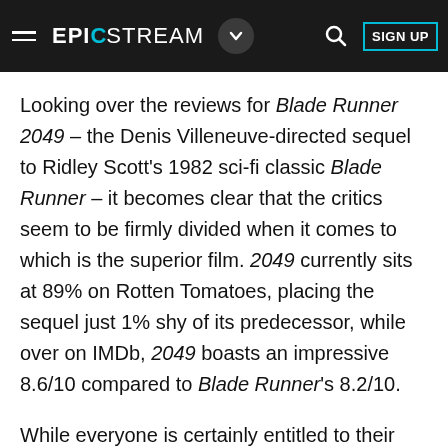EPICSTREAM
Looking over the reviews for Blade Runner 2049 – the Denis Villeneuve-directed sequel to Ridley Scott's 1982 sci-fi classic Blade Runner – it becomes clear that the critics seem to be firmly divided when it comes to which is the superior film. 2049 currently sits at 89% on Rotten Tomatoes, placing the sequel just 1% shy of its predecessor, while over on IMDb, 2049 boasts an impressive 8.6/10 compared to Blade Runner's 8.2/10.
While everyone is certainly entitled to their own